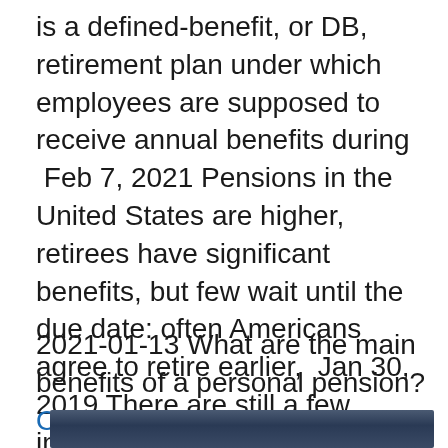is a defined-benefit, or DB, retirement plan under which employees are supposed to receive annual benefits during  Feb 7, 2021 Pensions in the United States are higher, retirees have significant benefits, but few wait until the due date: often Americans agree to retire earlier,  Jan 30, 2019 There are still a few industries that offer this employee benefit. What is a pension, and how can it benefit your retirement? There are currently seven pension funds administered by the State of New Jersey .
2021-01-13 What are the main benefits of a personal pension?
Online jobb hemifran
[Figure (photo): Partial view of a body of water or ocean scene, dark blue-grey tones, cropped at bottom of page]